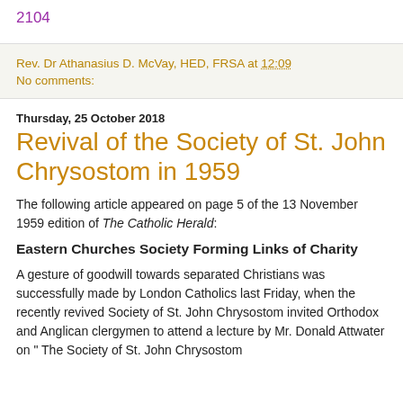2104
Rev. Dr Athanasius D. McVay, HED, FRSA at 12:09
No comments:
Thursday, 25 October 2018
Revival of the Society of St. John Chrysostom in 1959
The following article appeared on page 5 of the 13 November 1959 edition of The Catholic Herald:
Eastern Churches Society Forming Links of Charity
A gesture of goodwill towards separated Christians was successfully made by London Catholics last Friday, when the recently revived Society of St. John Chrysostom invited Orthodox and Anglican clergymen to attend a lecture by Mr. Donald Attwater on " The Society of St. John Chrysostom